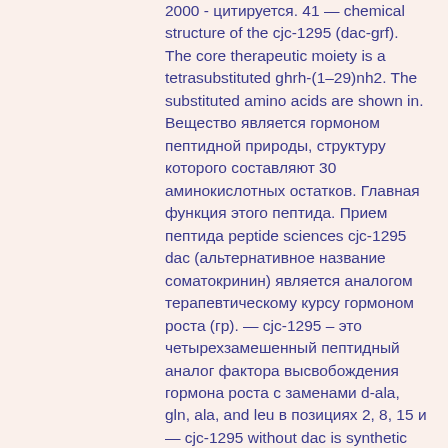2000 - цитируется. 41 — chemical structure of the cjc-1295 (dac-grf). The core therapeutic moiety is a tetrasubstituted ghrh-(1–29)nh2. The substituted amino acids are shown in. Вещество является гормоном пептидной природы, структуру которого составляют 30 аминокислотных остатков. Главная функция этого пептида. Прием пептида peptide sciences cjc-1295 dac (альтернативное название соматокринин) является аналогом терапевтическому курсу гормоном роста (гр). — cjc-1295 – это четырехзамешенный пептидный аналог фактора высвобождения гормона роста с заменами d-ala, gln, ala, and leu в позициях 2, 8, 15 и — cjc-1295 without dac is synthetic analog of growth hormone releasing factor (grf) also known as growth hormone releasing hormone (ghrh). One